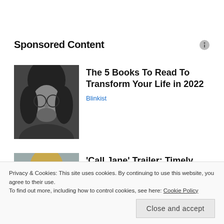Sponsored Content
[Figure (photo): Black and white photo of a young man with long hair and round glasses]
The 5 Books To Read To Transform Your Life in 2022
Blinkist
[Figure (photo): Photo of a blonde woman looking to the side]
'Call Jane' Trailer: Timely Abortion Drama Starring Elizabeth Banks, Wunmi Mosak...
Privacy & Cookies: This site uses cookies. By continuing to use this website, you agree to their use.
To find out more, including how to control cookies, see here: Cookie Policy
Close and accept